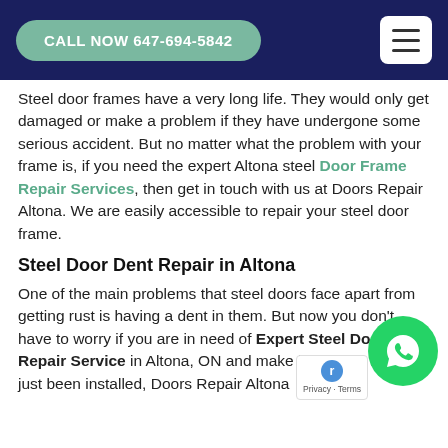CALL NOW 647-694-5842
Steel door frames have a very long life. They would only get damaged or make a problem if they have undergone some serious accident. But no matter what the problem with your frame is, if you need the expert Altona steel Door Frame Repair Services, then get in touch with us at Doors Repair Altona. We are easily accessible to repair your steel door frame.
Steel Door Dent Repair in Altona
One of the main problems that steel doors face apart from getting rust is having a dent in them. But now you don't have to worry if you are in need of Expert Steel Door Dent Repair Service in Altona, ON and make it look like it has just been installed, Doors Repair Altona